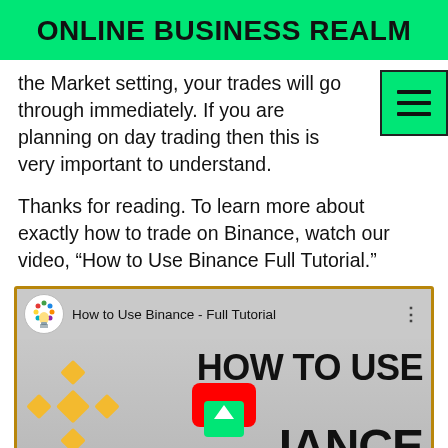ONLINE BUSINESS REALM
the Market setting, your trades will go through immediately. If you are planning on day trading then this is very important to understand.
Thanks for reading. To learn more about exactly how to trade on Binance, watch our video, “How to Use Binance Full Tutorial.”
[Figure (screenshot): YouTube video thumbnail for 'How to Use Binance - Full Tutorial' showing the Binance logo and bold text 'HOW TO USE BINANCE' with a YouTube play button overlay.]